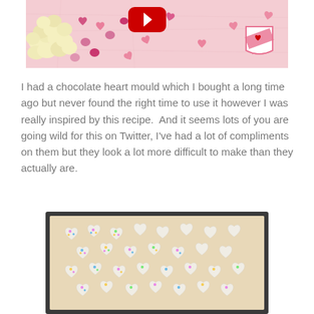[Figure (photo): Top photo showing popcorn and pink candy hearts on pink wrinkled paper background, with a YouTube play button overlay and a shield logo watermark in the bottom right corner]
I had a chocolate heart mould which I bought a long time ago but never found the right time to use it however I was really inspired by this recipe.  And it seems lots of you are going wild for this on Twitter, I've had a lot of compliments on them but they look a lot more difficult to make than they actually are.
[Figure (photo): Photo of a baking tray filled with white chocolate heart-shaped candies decorated with colorful sprinkles, arranged in rows on parchment paper inside a rectangular pan]